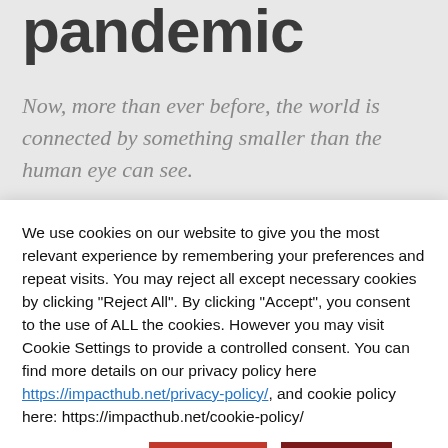pandemic
Now, more than ever before, the world is connected by something smaller than the human eye can see.
We use cookies on our website to give you the most relevant experience by remembering your preferences and repeat visits. You may reject all except necessary cookies by clicking "Reject All". By clicking "Accept", you consent to the use of ALL the cookies. However you may visit Cookie Settings to provide a controlled consent. You can find more details on our privacy policy here https://impacthub.net/privacy-policy/, and cookie policy here: https://impacthub.net/cookie-policy/
creating lasting change in places and for people who are the most in need. This is what has driven and shaped our global partnerships from the very